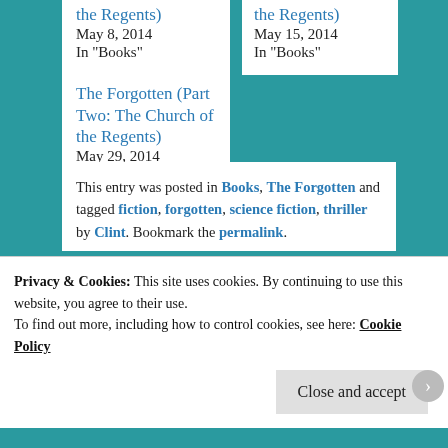the Regents)
May 8, 2014
In "Books"
the Regents)
May 15, 2014
In "Books"
The Forgotten (Part Two: The Church of the Regents)
May 29, 2014
In "Books"
This entry was posted in Books, The Forgotten and tagged fiction, forgotten, science fiction, thriller by Clint. Bookmark the permalink.
Leave a Reply
Privacy & Cookies: This site uses cookies. By continuing to use this website, you agree to their use.
To find out more, including how to control cookies, see here: Cookie Policy